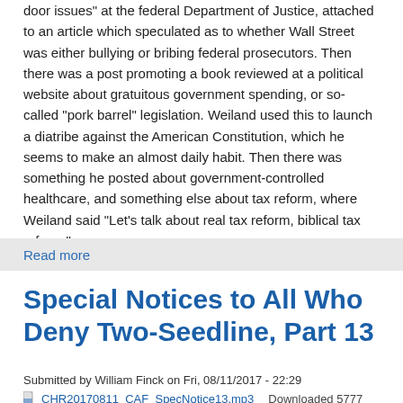door issues" at the federal Department of Justice, attached to an article which speculated as to whether Wall Street was either bullying or bribing federal prosecutors. Then there was a post promoting a book reviewed at a political website about gratuitous government spending, or so-called "pork barrel" legislation. Weiland used this to launch a diatribe against the American Constitution, which he seems to make an almost daily habit. Then there was something he posted about government-controlled healthcare, and something else about tax reform, where Weiland said "Let's talk about real tax reform, biblical tax reform."
Read more
Special Notices to All Who Deny Two-Seedline, Part 13
Submitted by William Finck on Fri, 08/11/2017 - 22:29
CHR20170811_CAF_SpecNotice13.mp3    Downloaded 5777